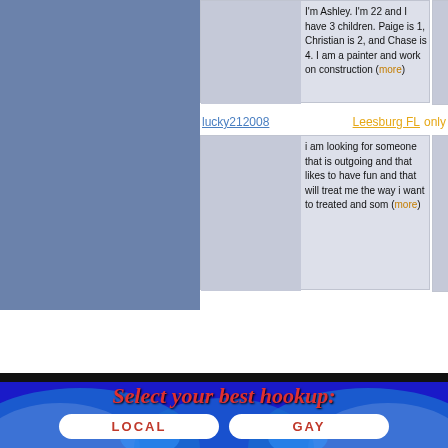I'm Ashley. I'm 22 and I have 3 children. Paige is 1, Christian is 2, and Chase is 4. I am a painter and work on construction (more)
lucky212008
Leesburg FL
only
i am looking for someone that is outgoing and that likes to have fun and that will treat me the way i want to treated and som (more)
Pages: 1 2 3 4 5
Florida Singles | Top Cities | Contact Us | Help | Dating Forums | Singles
[Figure (infographic): Dating site hookup selection banner with decorative blue swooshes on dark background, red italic text 'Select your best hookup:' and four white oval buttons labeled LOCAL, GAY, ASIAN, LATIN in red bold text]